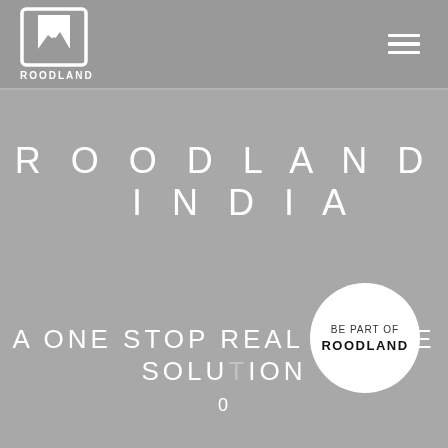ROODLAND
ROODLAND INDIA
[Figure (logo): White circle badge with text 'BE PART OF ROODLAND']
A ONE STOP REAL ESTATE SOLUTION
0